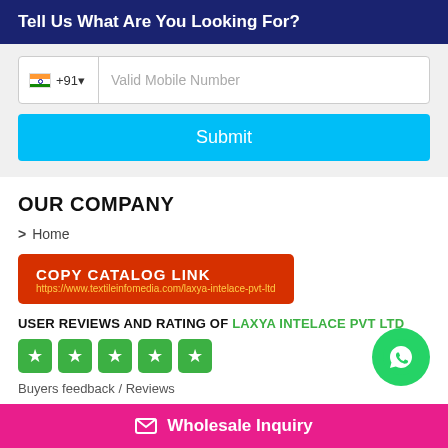Tell Us What Are You Looking For?
[Figure (screenshot): Phone number input field with Indian flag, +91 country code, and 'Valid Mobile Number' placeholder]
Submit
OUR COMPANY
> Home
COPY CATALOG LINK
https://www.textileinfomedia.com/laxya-intelace-pvt-ltd
USER REVIEWS AND RATING OF LAXYA INTELACE PVT LTD
[Figure (other): Five green star rating boxes]
Buyers feedback / Reviews
[Figure (other): WhatsApp green circle icon]
Wholesale Inquiry